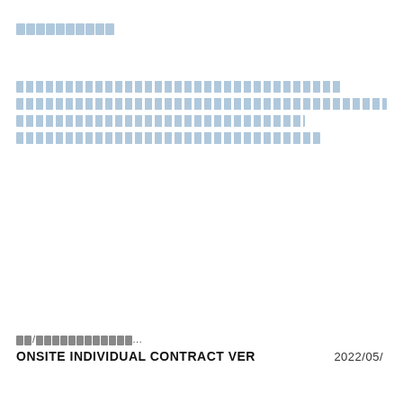██████████
████████████████████████████████████
████████████████████████████████████████████████
██████████████████████████████████████
█████████████████████████████████████
██/████████████...
ONSITE INDIVIDUAL CONTRACT VER    2022/05/
██/████████████...
ONSITE INDIVIDUAL CONTRACT VER    2022/05/